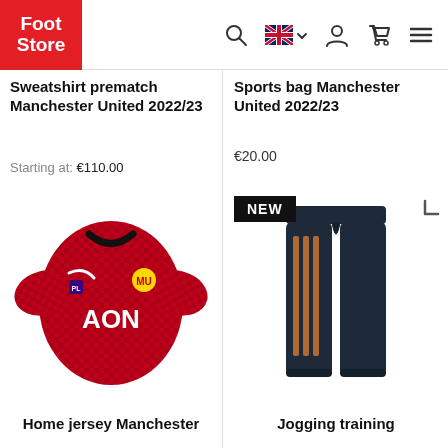Foot Store — navigation bar with logo, search, language selector, account, cart, menu
Sweatshirt prematch Manchester United 2022/23
Starting at: €110.00
Sports bag Manchester United 2022/23
€20.00
[Figure (photo): Manchester United red home jersey with AON sponsor logo and Nike swoosh]
[Figure (photo): Dark navy Adidas jogging training pants with orange Adidas stripes — tagged NEW]
Home jersey Manchester
Jogging training